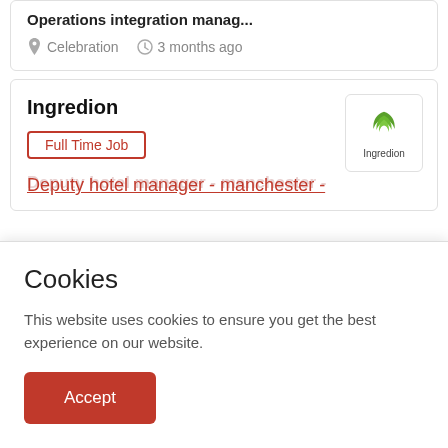Operations integration manag...
Celebration   3 months ago
Ingredion
Full Time Job
[Figure (logo): Ingredion company logo with green leaf icon and the word Ingredion]
Deputy hotel manager - manchester -
Cookies
This website uses cookies to ensure you get the best experience on our website.
Accept